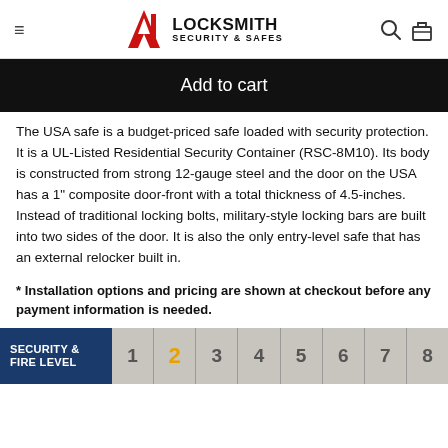A1 Locksmith Security & Safes
Add to cart
The USA safe is a budget-priced safe loaded with security protection. It is a UL-Listed Residential Security Container (RSC-8M10). Its body is constructed from strong 12-gauge steel and the door on the USA has a 1" composite door-front with a total thickness of 4.5-inches. Instead of traditional locking bolts, military-style locking bars are built into two sides of the door. It is also the only entry-level safe that has an external relocker built in.
* Installation options and pricing are shown at checkout before any payment information is needed.
[Figure (infographic): Security & Fire Level rating bar showing numbers 1 through 8, with number 2 highlighted in yellow/gold on a gray background. Left panel has dark blue background with text SECURITY & FIRE LEVEL.]